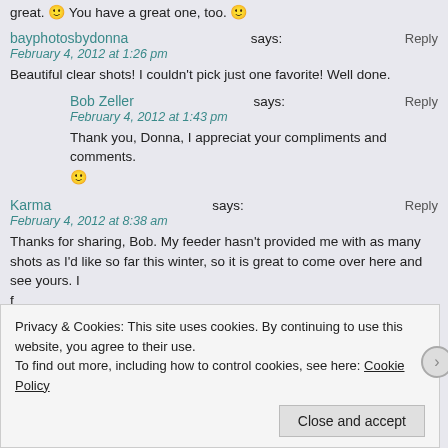great. 🙂 You have a great one, too. 🙂
bayphotosbydonna says:
February 4, 2012 at 1:26 pm
Beautiful clear shots! I couldn't pick just one favorite! Well done.
Bob Zeller says:
February 4, 2012 at 1:43 pm
Thank you, Donna, I appreciat your compliments and comments. 🙂
Karma says:
February 4, 2012 at 8:38 am
Thanks for sharing, Bob. My feeder hasn't provided me with as many shots as I'd like so far this winter, so it is great to come over here and see yours. I
Privacy & Cookies: This site uses cookies. By continuing to use this website, you agree to their use.
To find out more, including how to control cookies, see here: Cookie Policy
Close and accept